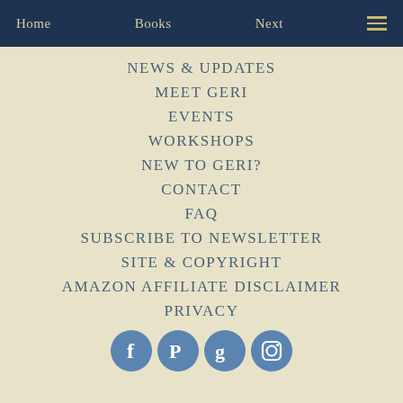Home   Books   Next
NEWS & UPDATES
MEET GERI
EVENTS
WORKSHOPS
NEW TO GERI?
CONTACT
FAQ
SUBSCRIBE TO NEWSLETTER
SITE & COPYRIGHT
AMAZON AFFILIATE DISCLAIMER
PRIVACY
[Figure (illustration): Four circular social media icons: Facebook, Pinterest, Goodreads, Instagram — steel blue color]